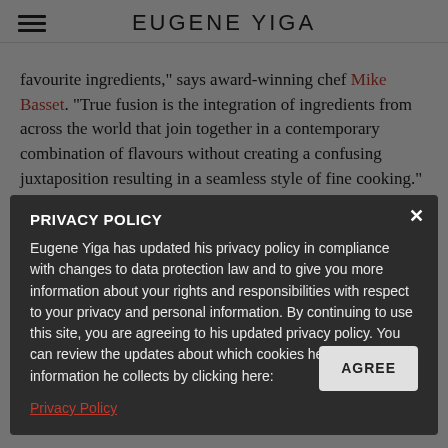EUGENE YIGA
favourite ingredients,” says award-winning chef Mike Basset. “True fusion is the integration of ingredients from across the world that join together in a contemporary combination of flavours without creating a confusing juxtaposition resulting in a seamless style of fine cooking.”
In line with Basset’s belief that the best way to experience dining out is to taste from a diverse array of dishes, Myoga offers a seven-course tasting dinner at the crazy low price of only R325. And while you can choose your own wine list from the extensive list, they make great cocktails too – you’re better off opting for the recommended pairings (R565 per person).
PRIVACY POLICY
Eugene Yiga has updated his privacy policy in compliance with changes to data protection law and to give you more information about your rights and responsibilities with respect to your privacy and personal information. By continuing to use this site, you are agreeing to his updated privacy policy. You can review the updates about which cookies he uses and what information he collects by clicking here:
Privacy Policy